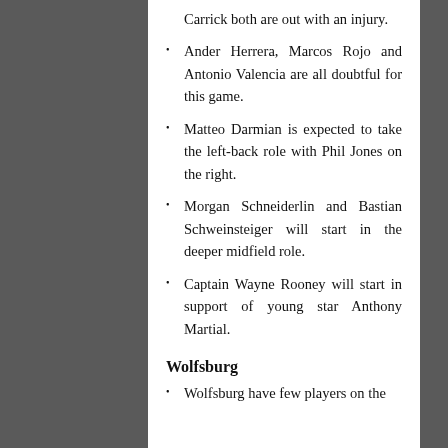Carrick both are out with an injury.
Ander Herrera, Marcos Rojo and Antonio Valencia are all doubtful for this game.
Matteo Darmian is expected to take the left-back role with Phil Jones on the right.
Morgan Schneiderlin and Bastian Schweinsteiger will start in the deeper midfield role.
Captain Wayne Rooney will start in support of young star Anthony Martial.
Wolfsburg
Wolfsburg have few players on the